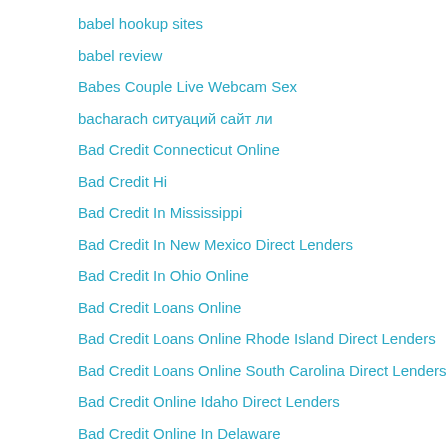babel hookup sites
babel review
Babes Couple Live Webcam Sex
bacharach ситуаций сайт ли
Bad Credit Connecticut Online
Bad Credit Hi
Bad Credit In Mississippi
Bad Credit In New Mexico Direct Lenders
Bad Credit In Ohio Online
Bad Credit Loans Online
Bad Credit Loans Online Rhode Island Direct Lenders
Bad Credit Loans Online South Carolina Direct Lenders
Bad Credit Online Idaho Direct Lenders
Bad Credit Online In Delaware
Bad Credit Online In Maryland